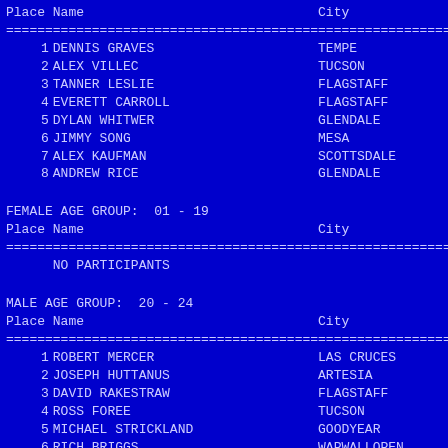| Place | Name | City |
| --- | --- | --- |
| 1 | DENNIS GRAVES | TEMPE |
| 2 | ALEX VILLEC | TUCSON |
| 3 | TANNER LESLIE | FLAGSTAFF |
| 4 | EVERETT CARROLL | FLAGSTAFF |
| 5 | DYLAN WHITWER | GLENDALE |
| 6 | JIMMY SONG | MESA |
| 7 | ALEX KAUFMAN | SCOTTSDALE |
| 8 | ANDREW RICE | GLENDALE |
FEMALE AGE GROUP:  01 - 19
| Place | Name | City |
| --- | --- | --- |
|  | NO PARTICIPANTS |  |
MALE AGE GROUP:  20 - 24
| Place | Name | City |
| --- | --- | --- |
| 1 | ROBERT MERCER | LAS CRUCES |
| 2 | JOSEPH HUTTANUS | ARTESIA |
| 3 | DAVID RAKESTRAW | FLAGSTAFF |
| 4 | ROSS FOREE | TUCSON |
| 5 | MICHAEL STRICKLAND | GOODYEAR |
| 6 | RICH BRIGGS | WAPWALLOPEN |
| 7 | BENJAMIN LANG | FLAGSTAFF |
| 8 | MATT GERLICH | PINETOP |
| 9 | CAMERON UPCHURCH | SCOTTSDALE |
| 10 | PETER HAWLEY | AVONDALE |